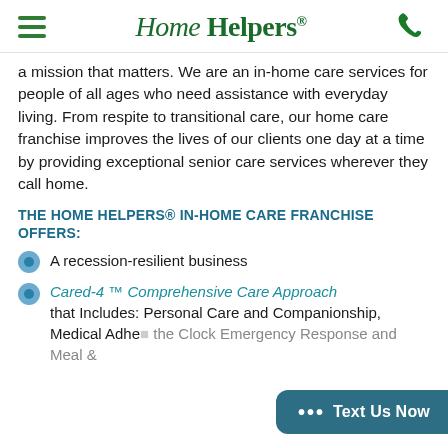Home Helpers®
a mission that matters. We are an in-home care services for people of all ages who need assistance with everyday living. From respite to transitional care, our home care franchise improves the lives of our clients one day at a time by providing exceptional senior care services wherever they call home.
THE HOME HELPERS® IN-HOME CARE FRANCHISE OFFERS:
A recession-resilient business
Cared-4 ™ Comprehensive Care Approach that Includes: Personal Care and Companionship, Medical Adher... the Clock Emergency Response and Meal &